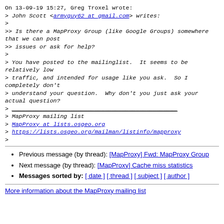On 13-09-19 15:27, Greg Troxel wrote:
> John Scott <armyguy62 at gmail.com> writes:
>
>> Is there a MapProxy Group (like Google Groups) somewhere that we can post
>> issues or ask for help?
>
> You have posted to the mailinglist.  It seems to be relatively low
> traffic, and intended for usage like you ask.  So I completely don't
> understand your question.  Why don't you just ask your actual question?
> _______________________________________________
> MapProxy mailing list
> MapProxy at lists.osgeo.org
> https://lists.osgeo.org/mailman/listinfo/mapproxy
>
Previous message (by thread): [MapProxy] Fwd: MapProxy Group
Next message (by thread): [MapProxy] Cache miss statistics
Messages sorted by: [ date ] [ thread ] [ subject ] [ author ]
More information about the MapProxy mailing list